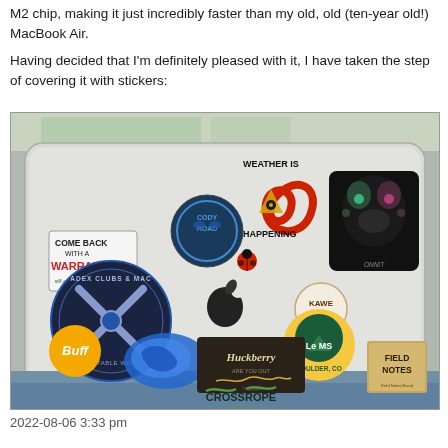M2 chip, making it just incredibly faster than my old, old (ten-year old!) MacBook Air.

Having decided that I'm definitely pleased with it, I have taken the step of covering it with stickers:
[Figure (photo): A MacBook laptop covered in various stickers including: Come Back With A Warrant, Cody Road, Weather Is Happening (hurricane/eye symbol), a ladybug, ADEX Clubs & Maces / Adjustable Weight, Apple logo, KAWE CO, ONNIT (leopard face), LeMiS Boulder CO, Buff, Huckberry, a blue map sticker, Crossrope Fitness, Field Notes. The laptop is sitting on a blue surface.]
2022-08-06 3:33 pm